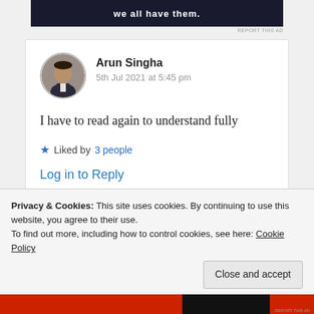[Figure (screenshot): Advertisement banner with dark blue background and bold white text 'we all have them.']
REPORT THIS AD
[Figure (photo): Circular avatar photo of Arun Singha, a man in a dark suit]
Arun Singha
5th Jul 2021 at 5:45 pm
I have to read again to understand fully
★ Liked by 3 people
Log in to Reply
Privacy & Cookies: This site uses cookies. By continuing to use this website, you agree to their use.
To find out more, including how to control cookies, see here: Cookie Policy
Close and accept